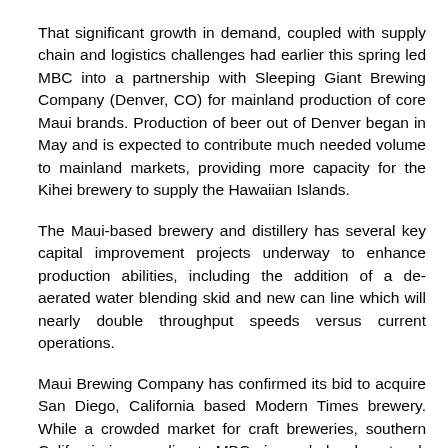That significant growth in demand, coupled with supply chain and logistics challenges had earlier this spring led MBC into a partnership with Sleeping Giant Brewing Company (Denver, CO) for mainland production of core Maui brands. Production of beer out of Denver began in May and is expected to contribute much needed volume to mainland markets, providing more capacity for the Kihei brewery to supply the Hawaiian Islands.
The Maui-based brewery and distillery has several key capital improvement projects underway to enhance production abilities, including the addition of a de-aerated water blending skid and new can line which will nearly double throughput speeds versus current operations.
Maui Brewing Company has confirmed its bid to acquire San Diego, California based Modern Times brewery. While a crowded market for craft breweries, southern California is appealing to MBC given wholesale network synergies, being MBC's 2nd largest market, and the hometown of MBC's Co-Founder and CEO, Garrett Marrero. Modern Times as a brand is enticing because of its incredible staff, innovative